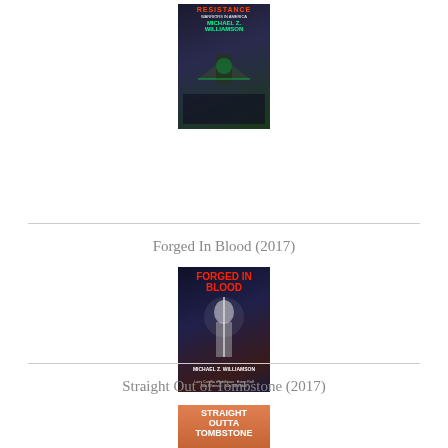[Figure (illustration): Book cover for Resistance (sci-fi anthology edited by Michael Z. Williamson), showing spacecraft and combat imagery on dark background]
Forged In Blood (2017)
[Figure (illustration): Book cover for Forged In Blood (2017), edited by Michael Z. Williamson, showing a dark armored figure holding a sword with red title text]
Straight Out of Tombstone (2017)
[Figure (illustration): Book cover for Straight Out of Tombstone (2017), edited by David Boop, showing a cowboy figure with western desert background in orange/red tones]